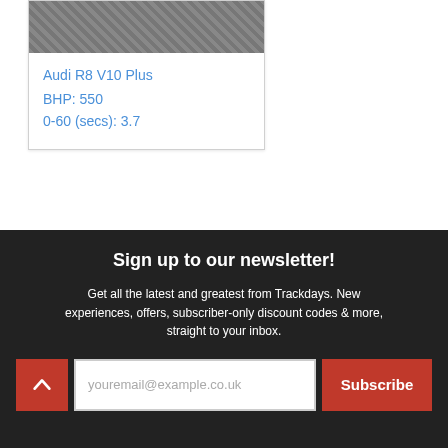[Figure (photo): Partial view of a car interior/exterior photo, dark grey textured surface]
Audi R8 V10 Plus
BHP: 550
0-60 (secs): 3.7
Sign up to our newsletter!
Get all the latest and greatest from Trackdays. New experiences, offers, subscriber-only discount codes & more, straight to your inbox.
youremail@example.co.uk
Subscribe